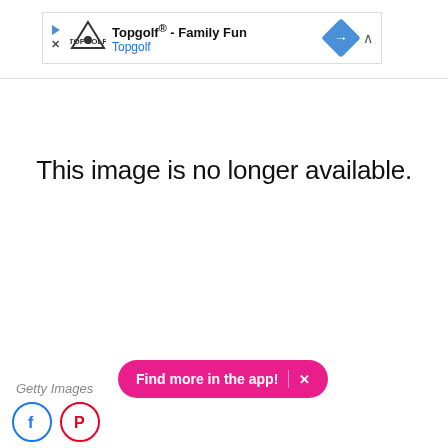[Figure (screenshot): Advertisement banner for Topgolf - Family Fun with Topgolf logo, navigation arrow icon, and chevron]
This image is no longer available.
Getty Images
[Figure (screenshot): Find more in the app! button in pink/magenta with X close icon, and Facebook and Pinterest social media icons below]